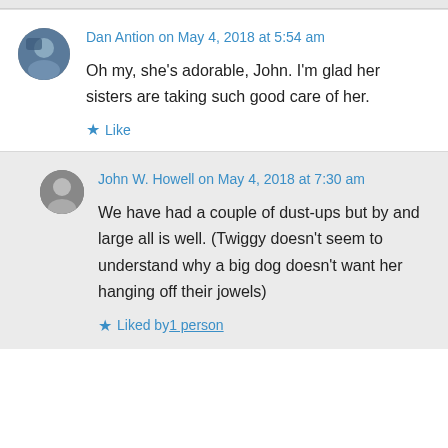Dan Antion on May 4, 2018 at 5:54 am
Oh my, she's adorable, John. I'm glad her sisters are taking such good care of her.
Like
John W. Howell on May 4, 2018 at 7:30 am
We have had a couple of dust-ups but by and large all is well. (Twiggy doesn't seem to understand why a big dog doesn't want her hanging off their jowels)
Liked by 1 person